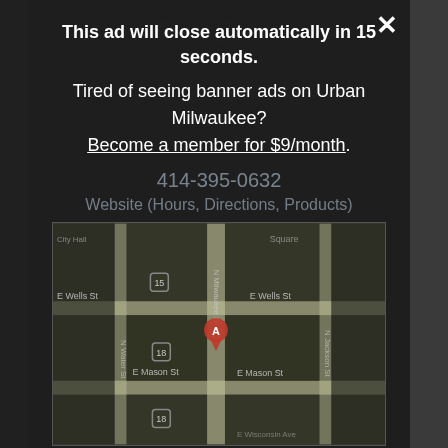This ad will close automatically in 15 seconds.
Tired of seeing banner ads on Urban Milwaukee? Become a member for $9/month.
414-395-0632
Website (Hours, Directions, Products)
[Figure (map): Google map showing downtown Milwaukee area with streets including N Milwaukee St, E Wells St, E Mason St, N Water St, N Jackson St, and route markers for highway 18. A red location pin labeled A is placed on N Milwaukee St near E Wells St.]
Subscribe
Daily Email Update